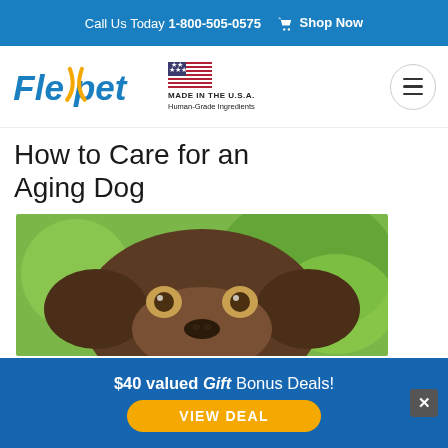Call Us Today 1-800-505-0575  🛒  Shop Now
[Figure (logo): Flexpet logo with stylized text in blue and yellow, American flag icon, MADE IN THE U.S.A., Human-Grade Ingredients, and hamburger menu button]
How to Care for an Aging Dog
[Figure (photo): Close-up photograph of a brown/chocolate Labrador dog looking at the camera, with blurred green background]
$40 valued Gift Bonus Deals!
VIEW DEAL